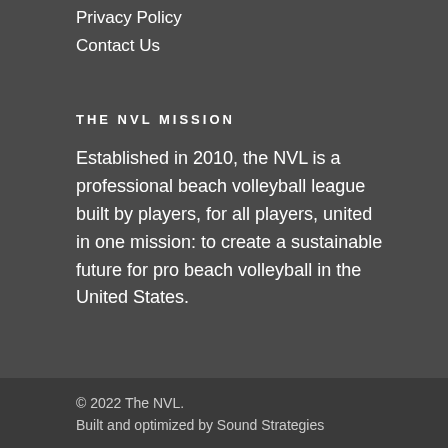Privacy Policy
Contact Us
THE NVL MISSION
Established in 2010, the NVL is a professional beach volleyball league built by players, for all players, united in one mission: to create a sustainable future for pro beach volleyball in the United States.
© 2022 The NVL.
Built and optimized by Sound Strategies